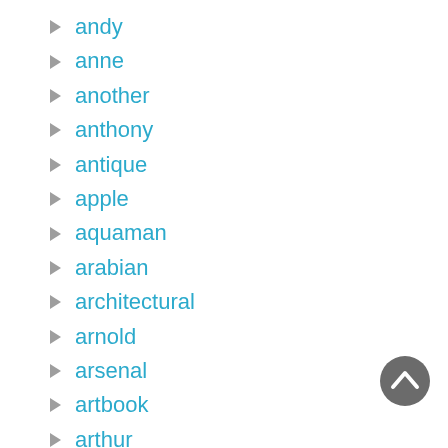andy
anne
another
anthony
antique
apple
aquaman
arabian
architectural
arnold
arsenal
artbook
arthur
[Figure (other): Scroll-to-top button, dark grey circle with white upward chevron arrow]